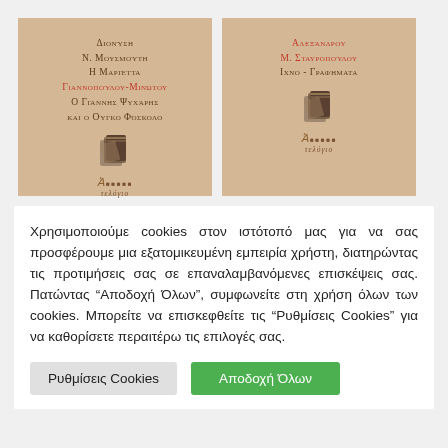[Figure (photo): Two book covers side by side on tan/beige background. Left cover: Greek text reading ΔΙΟΝΥΣΗ Ν. ΜΟΥΣΜΟΥΤΗ Η ΜΑΡΙΕΤΤΑ ΓΙΑΝΝΟΠΟΥΛΟΥ-ΜΙΝΩΤΟΥ Ο ΓΙΑΝΝΗΣ ΨΥΧΑΡΗΣ ΚΑΙ Ο ΟΥΓΚΟ ΦΟΣΚΟΛΟ, with publisher logo. Right cover: Greek text ΑΛΕΞΑΝΔΡΟΥ Μ. ΣΤΑΥΡΟΠΟΥΛΟΥ ΙΧΝΟ-ΓΡΑΦΗΜΑΤΑ, with publisher logo.]
Χρησιμοποιούμε cookies στον ιστότοπό μας για να σας προσφέρουμε μια εξατομικευμένη εμπειρία χρήστη, διατηρώντας τις προτιμήσεις σας σε επαναλαμβανόμενες επισκέψεις σας. Πατώντας "Αποδοχή Όλων", συμφωνείτε στη χρήση όλων των cookies. Μπορείτε να επισκεφθείτε τις "Ρυθμίσεις Cookies" για να καθορίσετε περαιτέρω τις επιλογές σας.
Ρυθμίσεις Cookies
Αποδοχή Όλων